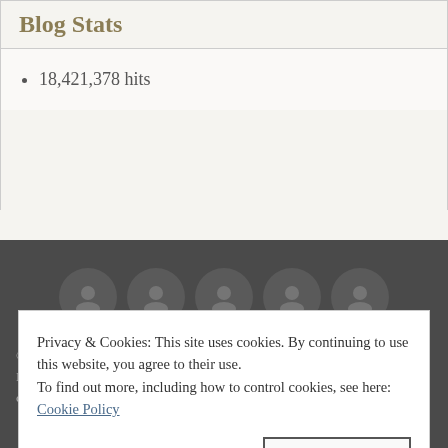Blog Stats
18,421,378 hits
[Figure (illustration): Five circular avatar icons in a row on dark background]
© 2010-2022 homeiswheretheboatis.net All Rights Reserved. Home is Where the Boat Is and all content and photographs are copyright protected. Using content including but not limited to
Privacy & Cookies: This site uses cookies. By continuing to use this website, you agree to their use.
To find out more, including how to control cookies, see here:
Cookie Policy
Close and accept